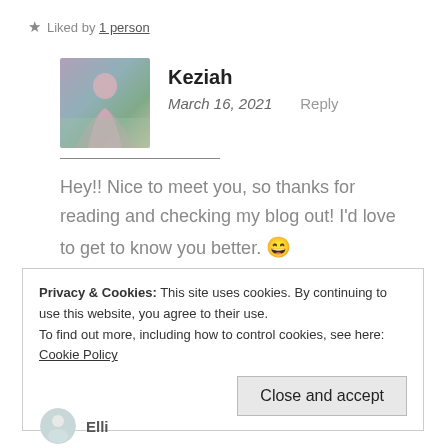★ Liked by 1 person
Keziah
March 16, 2021    Reply
Hey!! Nice to meet you, so thanks for reading and checking my blog out! I'd love to get to know you better. 😄
Privacy & Cookies: This site uses cookies. By continuing to use this website, you agree to their use.
To find out more, including how to control cookies, see here: Cookie Policy
Close and accept
Elli